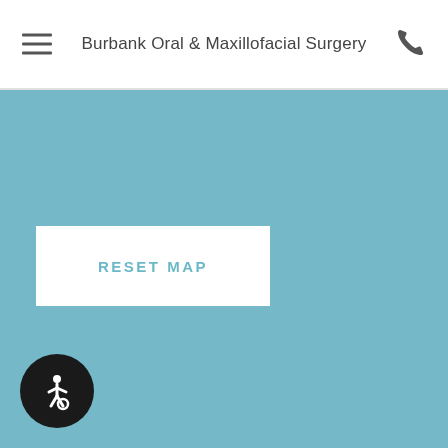Burbank Oral & Maxillofacial Surgery
[Figure (map): Teal/blue-grey map background area for Burbank Oral & Maxillofacial Surgery location map]
RESET MAP
[Figure (illustration): Accessibility wheelchair icon in white on dark circular background]